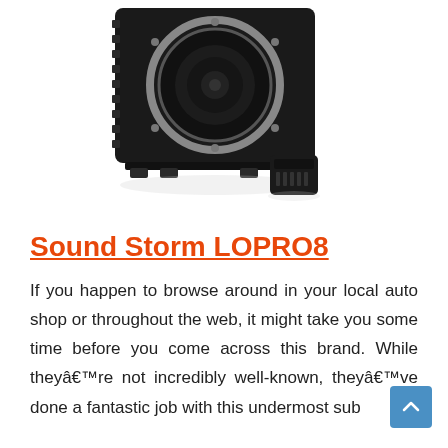[Figure (photo): Product photo of Sound Storm LOPRO8 subwoofer — a black rectangular under-seat subwoofer with a circular speaker cone and chrome ring, plus a small black remote bass control unit in front of it, shown on a white background with a subtle reflection.]
Sound Storm LOPRO8
If you happen to browse around in your local auto shop or throughout the web, it might take you some time before you come across this brand. While they're not incredibly well-known, they've done a fantastic job with this undermost sub...